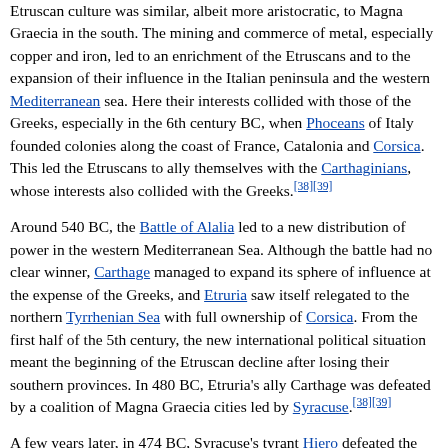Etruscan culture was similar, albeit more aristocratic, to Magna Graecia in the south. The mining and commerce of metal, especially copper and iron, led to an enrichment of the Etruscans and to the expansion of their influence in the Italian peninsula and the western Mediterranean sea. Here their interests collided with those of the Greeks, especially in the 6th century BC, when Phoceans of Italy founded colonies along the coast of France, Catalonia and Corsica. This led the Etruscans to ally themselves with the Carthaginians, whose interests also collided with the Greeks.[38][39]
Around 540 BC, the Battle of Alalia led to a new distribution of power in the western Mediterranean Sea. Although the battle had no clear winner, Carthage managed to expand its sphere of influence at the expense of the Greeks, and Etruria saw itself relegated to the northern Tyrrhenian Sea with full ownership of Corsica. From the first half of the 5th century, the new international political situation meant the beginning of the Etruscan decline after losing their southern provinces. In 480 BC, Etruria's ally Carthage was defeated by a coalition of Magna Graecia cities led by Syracuse.[38][39]
A few years later, in 474 BC, Syracuse's tyrant Hiero defeated the Etruscans at the Battle of Cumae. Etruria's influence over the cities of Latium and Campania weakened, and it was taken over by...